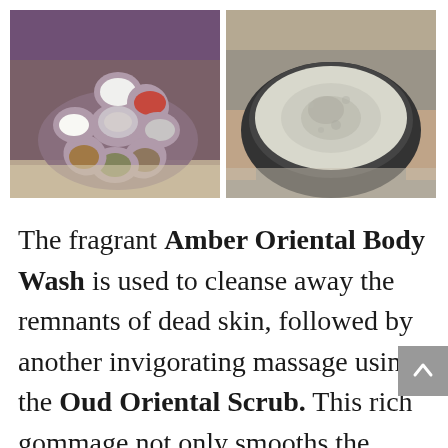[Figure (photo): Two side-by-side photos. Left: a person in a purple top holding a flower-shaped ceramic dish tray with multiple small bowls containing various spa/beauty ingredients (white cream, red, clear, dark green, amber/brown substances). Right: a person holding a dark bowl filled with a pale grayish-white scrub mixture.]
The fragrant Amber Oriental Body Wash is used to cleanse away the remnants of dead skin, followed by another invigorating massage using the Oud Oriental Scrub. This rich gommage not only smooths the surface of the skin, it also contains argan oil to help